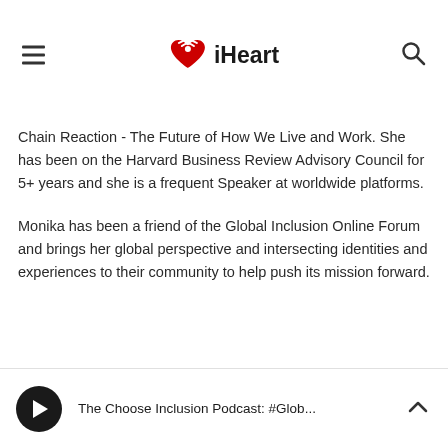[Figure (logo): iHeart logo with hamburger menu and search icon in header navigation bar]
Chain Reaction - The Future of How We Live and Work. She has been on the Harvard Business Review Advisory Council for 5+ years and she is a frequent Speaker at worldwide platforms.
Monika has been a friend of the Global Inclusion Online Forum and brings her global perspective and intersecting identities and experiences to their community to help push its mission forward.
The Choose Inclusion Podcast: #Glob...